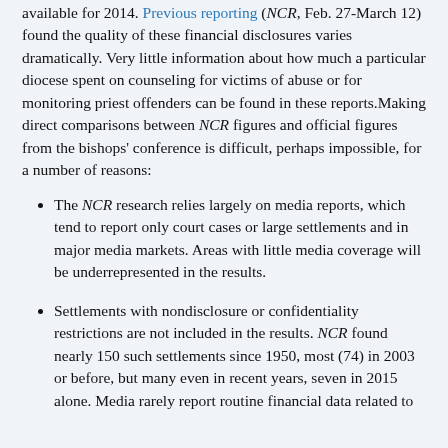available for 2014. Previous reporting (NCR, Feb. 27-March 12) found the quality of these financial disclosures varies dramatically. Very little information about how much a particular diocese spent on counseling for victims of abuse or for monitoring priest offenders can be found in these reports.Making direct comparisons between NCR figures and official figures from the bishops' conference is difficult, perhaps impossible, for a number of reasons:
The NCR research relies largely on media reports, which tend to report only court cases or large settlements and in major media markets. Areas with little media coverage will be underrepresented in the results.
Settlements with nondisclosure or confidentiality restrictions are not included in the results. NCR found nearly 150 such settlements since 1950, most (74) in 2003 or before, but many even in recent years, seven in 2015 alone. Media rarely report routine financial data related to